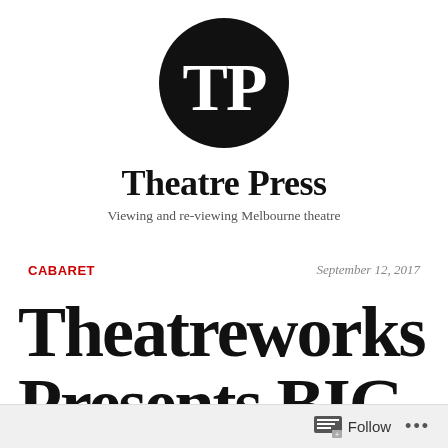[Figure (logo): Theatre Press logo: black circle with white bold letters TP in the center]
Theatre Press
Viewing and re-viewing Melbourne theatre
CABARET
September 12, 2017
Theatreworks Presents BIG